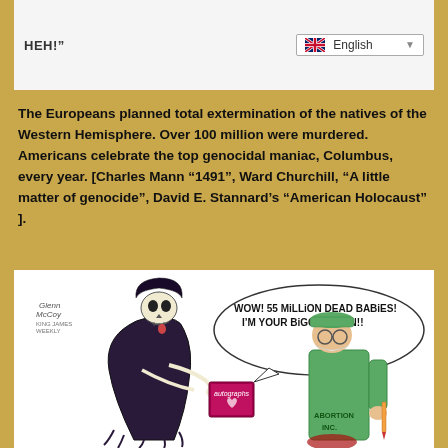HEH!”
English
The Europeans planned total extermination of the natives of the Western Hemisphere. Over 100 million were murdered. Americans celebrate the top genocidal maniac, Columbus, every year. [Charles Mann “1491”, Ward Churchill, “A little matter of genocide”, David E. Stannard’s “American Holocaust”].
[Figure (illustration): Political cartoon showing the Grim Reaper (skeleton in black robes) holding an autograph book and saying 'WOW! 55 MILLION DEAD BABIES! I'M YOUR BIGGEST FAN!!' to a figure wearing a green shirt labeled 'ABORTION INC.' Signed by Glenn McCoy.]